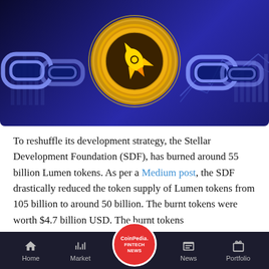[Figure (illustration): A gold Stellar (XLM) coin with rocket logo in the center, surrounded by a blue glowing blockchain chain link background with financial chart lines. Digital crypto art.]
To reshuffle its development strategy, the Stellar Development Foundation (SDF), has burned around 55 billion Lumen tokens. As per a Medium post, the SDF drastically reduced the token supply of Lumen tokens from 105 billion to around 50 billion. The burnt tokens were worth $4.7 billion USD. The burnt tokens
Home  Market  CoinPedia FINTECH NEWS  News  Portfolio